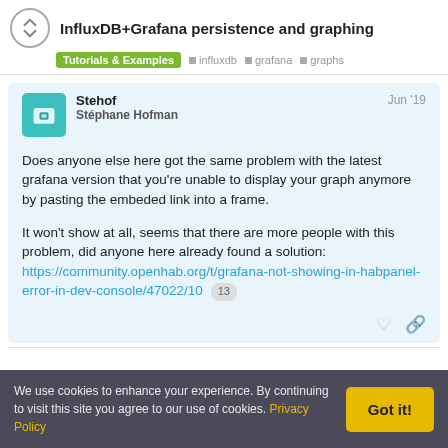InfluxDB+Grafana persistence and graphing — Tutorials & Examples · influxdb · grafana · graphs
Stehof
Stéphane Hofman
Jun '19
Does anyone else here got the same problem with the latest grafana version that you're unable to display your graph anymore by pasting the embeded link into a frame.

It won't show at all, seems that there are more people with this problem, did anyone here already found a solution:
https://community.openhab.org/t/grafana-not-showing-in-habpanel-error-in-dev-console/47022/10  13
We use cookies to enhance your experience. By continuing to visit this site you agree to our use of cookies. Privacy Policy
Got it!